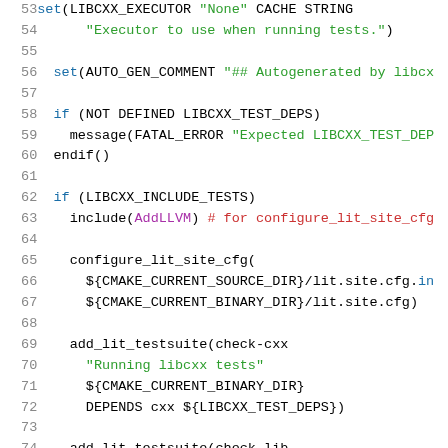[Figure (screenshot): Source code listing (CMake) showing lines 53–74, with syntax highlighting: line numbers in gray, keywords in blue, strings in green, variables/identifiers in purple, comments in red.]